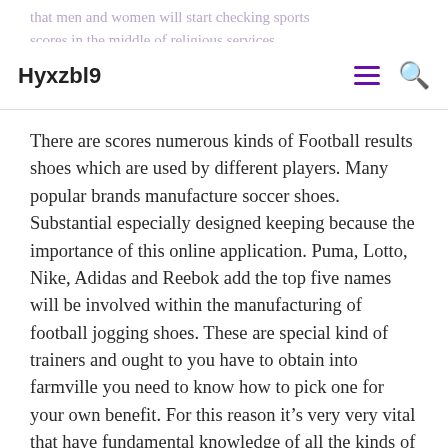Hyxzbl9
that men and women will start checking sports scores in the middle of religious services.
There are scores numerous kinds of Football results shoes which are used by different players. Many popular brands manufacture soccer shoes. Substantial especially designed keeping because the importance of this online application. Puma, Lotto, Nike, Adidas and Reebok add the top five names will be involved within the manufacturing of football jogging shoes. These are special kind of trainers and ought to you have to obtain into farmville you need to know how to pick one for your own benefit. For this reason it’s very very vital that have fundamental knowledge of all the kinds of football shoes, different brands and the actual are extending.